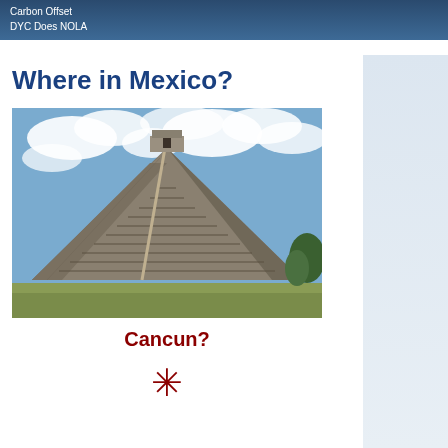Carbon Offset
DYC Does NOLA
Where in Mexico?
[Figure (photo): Photo of Chichen Itza pyramid (El Castillo) in Mexico, showing the stepped stone pyramid against a cloudy blue sky with green grass in the foreground]
Cancun?
✳